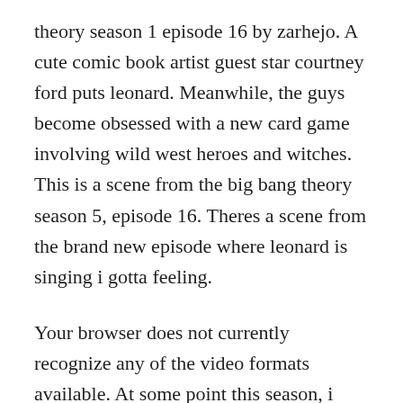theory season 1 episode 16 by zarhejo. A cute comic book artist guest star courtney ford puts leonard. Meanwhile, the guys become obsessed with a new card game involving wild west heroes and witches. This is a scene from the big bang theory season 5, episode 16. Theres a scene from the brand new episode where leonard is singing i gotta feeling.
Your browser does not currently recognize any of the video formats available. At some point this season, i started watching the big